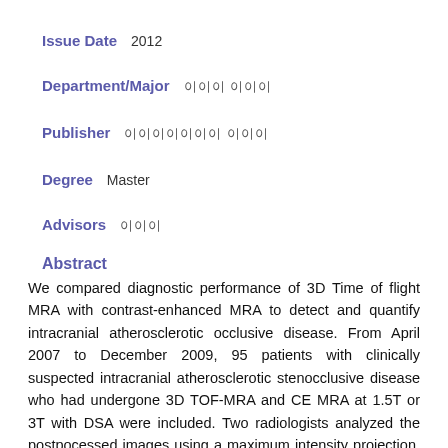Issue Date  2012
Department/Major  이이 이이
Publisher  이이이이이이이 이이이
Degree  Master
Advisors  이이이
Abstract
We compared diagnostic performance of 3D Time of flight MRA with contrast-enhanced MRA to detect and quantify intracranial atherosclerotic occlusive disease. From April 2007 to December 2009, 95 patients with clinically suspected intracranial atherosclerotic stenocclusive disease who had undergone 3D TOF-MRA and CE MRA at 1.5T or 3T with DSA were included. Two radiologists analyzed the postpocessed images using a maximum intensity projection. Intracranial vessels were divided